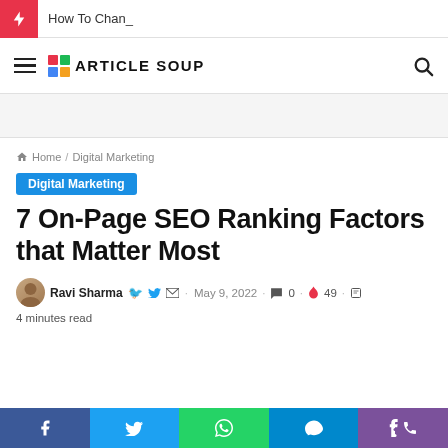How To Chan_
[Figure (logo): Article Soup logo with colorful squares and bold text]
Home / Digital Marketing
Digital Marketing
7 On-Page SEO Ranking Factors that Matter Most
Ravi Sharma · May 9, 2022 · 0 comments · 49 · 4 minutes read